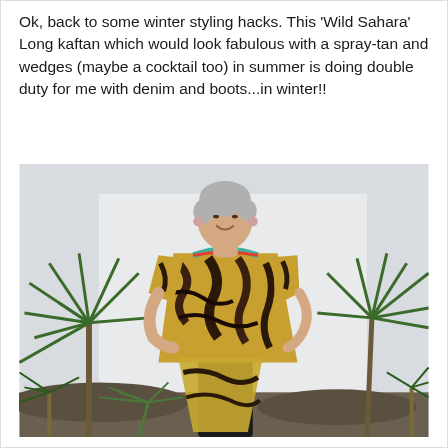Ok, back to some winter styling hacks. This 'Wild Sahara' Long kaftan which would look fabulous with a spray-tan and wedges (maybe a cocktail too) in summer is doing double duty for me with denim and boots...in winter!!
[Figure (photo): A woman with short grey hair wearing a Wild Sahara Long kaftan with animal print pattern and jewelled neckline over black jeans, standing outdoors in front of white wall with palm-like plants on either side, smiling at the camera.]